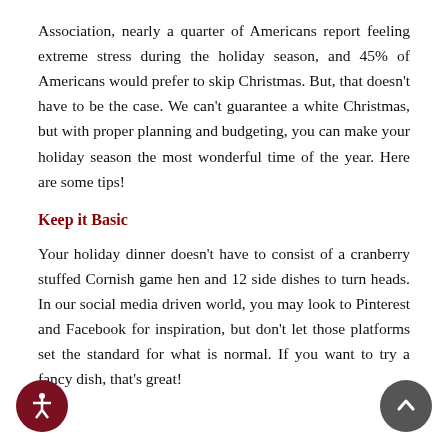Association, nearly a quarter of Americans report feeling extreme stress during the holiday season, and 45% of Americans would prefer to skip Christmas. But, that doesn't have to be the case. We can't guarantee a white Christmas, but with proper planning and budgeting, you can make your holiday season the most wonderful time of the year. Here are some tips!
Keep it Basic
Your holiday dinner doesn't have to consist of a cranberry stuffed Cornish game hen and 12 side dishes to turn heads. In our social media driven world, you may look to Pinterest and Facebook for inspiration, but don't let those platforms set the standard for what is normal. If you want to try a fancy dish, that's great!